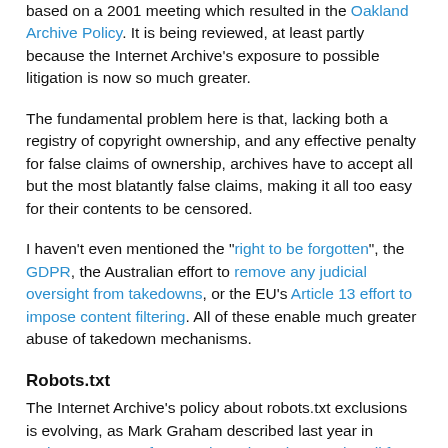based on a 2001 meeting which resulted in the Oakland Archive Policy. It is being reviewed, at least partly because the Internet Archive's exposure to possible litigation is now so much greater.
The fundamental problem here is that, lacking both a registry of copyright ownership, and any effective penalty for false claims of ownership, archives have to accept all but the most blatantly false claims, making it all too easy for their contents to be censored.
I haven't even mentioned the "right to be forgotten", the GDPR, the Australian effort to remove any judicial oversight from takedowns, or the EU's Article 13 effort to impose content filtering. All of these enable much greater abuse of takedown mechanisms.
Robots.txt
The Internet Archive's policy about robots.txt exclusions is evolving, as Mark Graham described last year in Robots.txt meant for search engines don't work well for web archives:
A few months ago we stopped referring to